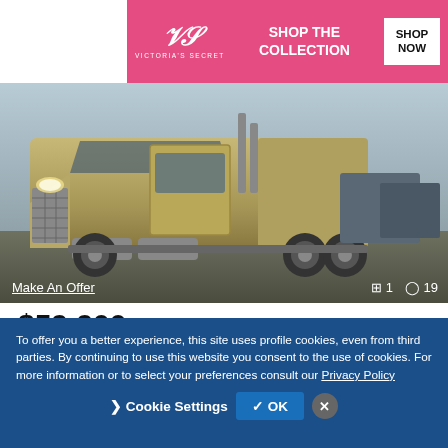[Figure (advertisement): Victoria's Secret advertisement banner with pink background, VS logo, 'SHOP THE COLLECTION' text and 'SHOP NOW' white button]
[Figure (photo): Photo of a 2011 Volvo VNL730 conventional sleeper truck tractor, silver/gold colored, front 3/4 view in a lot]
Make An Offer
⊞ 1   🔵 19
$59,900
2011 VOLVO VNL730 Conventional - Sleeper Truck, Tractor
567,013 miles
DOT TRUCK SALES - Website
Lathrop, CA - 2,349 mi. away
To offer you a better experience, this site uses profile cookies, even from third parties. By continuing to use this website you consent to the use of cookies. For more information or to select your preferences consult our Privacy Policy